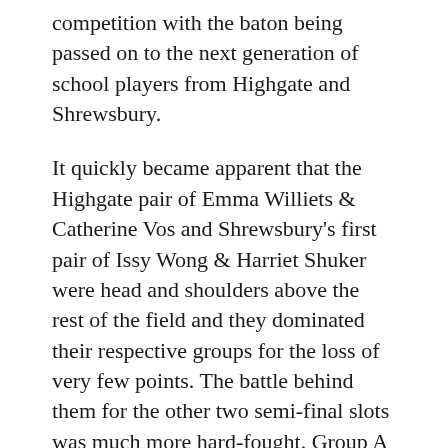competition with the baton being passed on to the next generation of school players from Highgate and Shrewsbury.
It quickly became apparent that the Highgate pair of Emma Williets & Catherine Vos and Shrewsbury's first pair of Issy Wong & Harriet Shuker were head and shoulders above the rest of the field and they dominated their respective groups for the loss of very few points. The battle behind them for the other two semi-final slots was much more hard-fought. Group A boiled down to a Shrewsbury shoot out between Lisette Barden & Phoebe Watkins and Scarlett Whittal & Rachel Ellis, which Lisette & Phoebe won 15-12. Annie Cox & Ashleigh Pegge from Shrewsbury came fourth, just pipping